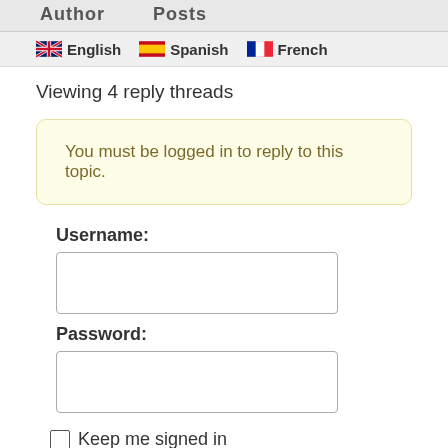Author    Posts
🇬🇧 English 🇪🇸 Spanish 🇫🇷 French
Viewing 4 reply threads
You must be logged in to reply to this topic.
Username:
Password:
Keep me signed in